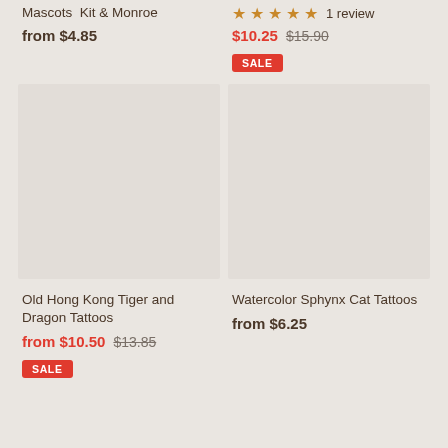Mascots  Kit & Monroe
from $4.85
★★★★★ 1 review
$10.25  $15.90
SALE
[Figure (photo): Product image placeholder for Old Hong Kong Tiger and Dragon Tattoos]
[Figure (photo): Product image placeholder for Watercolor Sphynx Cat Tattoos]
Old Hong Kong Tiger and Dragon Tattoos
from $10.50  $13.85
SALE
Watercolor Sphynx Cat Tattoos
from $6.25